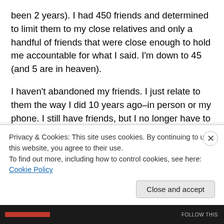been 2 years). I had 450 friends and determined to limit them to my close relatives and only a handful of friends that were close enough to hold me accountable for what I said. I'm down to 45 (and 5 are in heaven).
I haven't abandoned my friends. I just relate to them the way I did 10 years ago–in person or my phone. I still have friends, but I no longer have to worry about my impact on people that I barely knew when I actually knew them.
It is strange, and I feel bad when I get those friend
Privacy & Cookies: This site uses cookies. By continuing to use this website, you agree to their use.
To find out more, including how to control cookies, see here: Cookie Policy